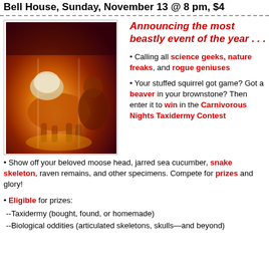Bell House, Sunday, November 13 @ 8 pm, $4
[Figure (photo): Photo of a taxidermied animal (dog-like creature) on display with a person examining it in a dimly lit venue with warm amber lighting]
Announcing the most beastly event of the year . . .
• Calling all science geeks, nature freaks, and rogue geniuses
• Your stuffed squirrel got game? Got a beaver in your brownstone? Then enter it to win in the Carnivorous Nights Taxidermy Contest
• Show off your beloved moose head, jarred sea cucumber, snake skeleton, raven remains, and other specimens. Compete for prizes and glory!
• Eligible for prizes:
--Taxidermy (bought, found, or homemade)
--Biological oddities (articulated skeletons, skulls—and beyond)